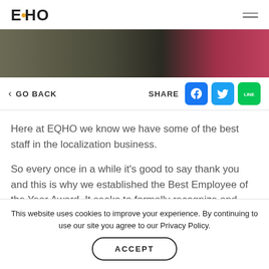EQHO
[Figure (photo): Blurred hero image with dark and pink tones]
< GO BACK   SHARE
Here at EQHO we know we have some of the best staff in the localization business.
So every once in a while it's good to say thank you and this is why we established the Best Employee of the Year Award. It seeks to formally recognize and honor outstanding contributions by
This website uses cookies to improve your experience. By continuing to use our site you agree to our Privacy Policy.
ACCEPT